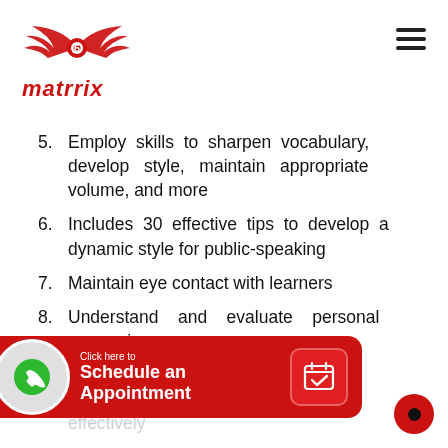[Figure (logo): Matrrix logo with red winged icon and the word 'matrrix' in red italic bold text]
5. Employ skills to sharpen vocabulary, develop style, maintain appropriate volume, and more
6. Includes 30 effective tips to develop a dynamic style for public-speaking
7. Maintain eye contact with learners
8. Understand and evaluate personal mannerisms
[Figure (infographic): Red banner overlay at bottom with phone circle icon, 'Click here to Schedule an Appointment' text and calendar icon. Red dot at bottom right.]